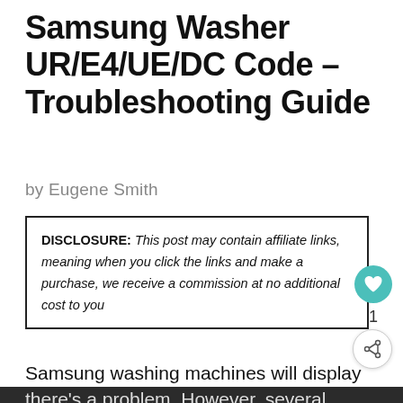Samsung Washer UR/E4/UE/DC Code – Troubleshooting Guide
by Eugene Smith
DISCLOSURE: This post may contain affiliate links, meaning when you click the links and make a purchase, we receive a commission at no additional cost to you
Samsung washing machines will display an error code to let you know that there's a problem. However, several